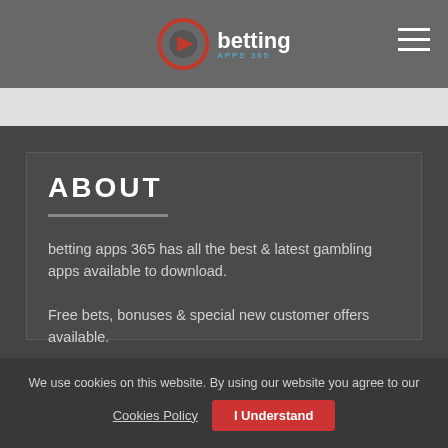betting apps 365 — navigation header with logo and hamburger menu
ABOUT
betting apps 365 has all the best & latest gambling apps available to download.
Free bets, bonuses & special new customer offers available.
We use cookies on this website. By using our website you agree to our Cookies Policy  I Understand